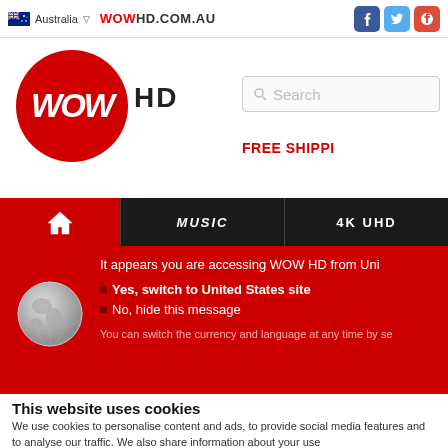Australia ▽ WOWHD.COM.AU [Facebook] [Twitter] [Google+]
[Figure (logo): WOW HD logo — red circle with white italic WOW text, followed by HD in black]
Search
FREE SHIPPI
MUSIC  4K UHD
It appears you are accessing WOW HD from Uni
• Yes, switch to United States site
• No, hide this message
You can switch the currency and language at any time by se
|  |  |
| --- | --- |
| By | Gus G. |
| Release | 20/04/2018 |
| Music Genre | Rock |
| Media Format | CD |
This website uses cookies
We use cookies to personalise content and ads, to provide social media features and to analyse our traffic. We also share information about your use